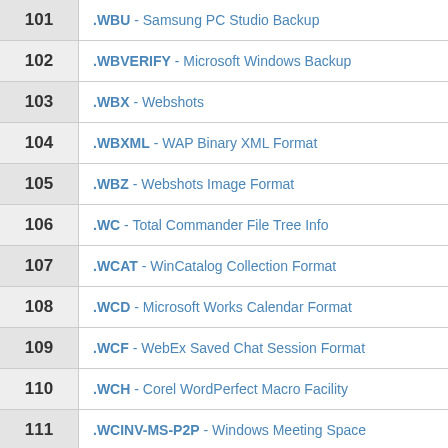| # | Extension |
| --- | --- |
| 101 | .WBU - Samsung PC Studio Backup |
| 102 | .WBVERIFY - Microsoft Windows Backup |
| 103 | .WBX - Webshots |
| 104 | .WBXML - WAP Binary XML Format |
| 105 | .WBZ - Webshots Image Format |
| 106 | .WC - Total Commander File Tree Info |
| 107 | .WCAT - WinCatalog Collection Format |
| 108 | .WCD - Microsoft Works Calendar Format |
| 109 | .WCF - WebEx Saved Chat Session Format |
| 110 | .WCH - Corel WordPerfect Macro Facility |
| 111 | .WCINV-MS-P2P - Windows Meeting Space |